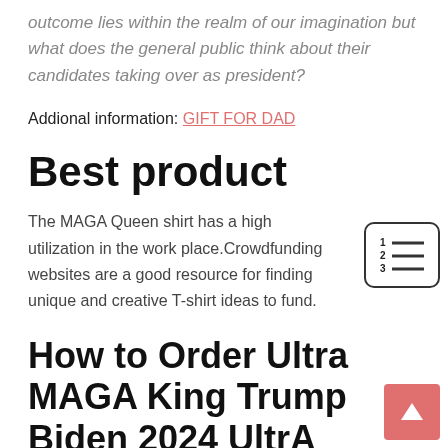outcome lies within the realm of our imagination but what does the general public think about their candidates taking over as president?
Addional information: GIFT FOR DAD
Best product
The MAGA Queen shirt has a high utilization in the work place.Crowdfunding websites are a good resource for finding unique and creative T-shirt ideas to fund.
How to Order Ultra MAGA King Trump Biden 2024 UltrA MAGA Crowd UltrA MAGA Long Sleeve